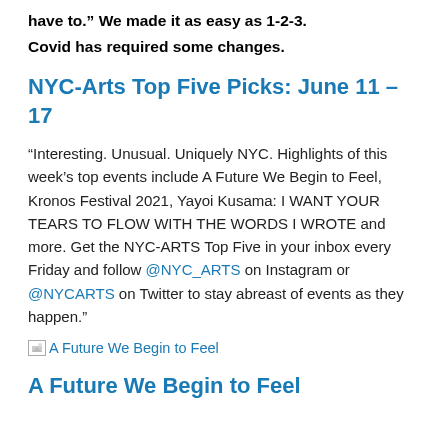have to.” We made it as easy as 1-2-3. Covid has required some changes.
NYC-Arts Top Five Picks: June 11 – 17
“Interesting. Unusual. Uniquely NYC. Highlights of this week’s top events include A Future We Begin to Feel, Kronos Festival 2021, Yayoi Kusama: I WANT YOUR TEARS TO FLOW WITH THE WORDS I WROTE and more. Get the NYC-ARTS Top Five in your inbox every Friday and follow @NYC_ARTS on Instagram or @NYCARTS on Twitter to stay abreast of events as they happen.”
[Figure (other): Broken image placeholder with link text: A Future We Begin to Feel]
A Future We Begin to Feel